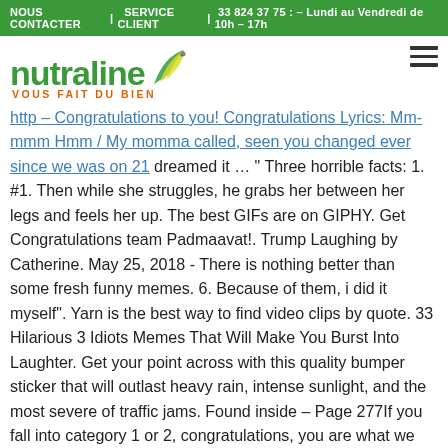NOUS CONTACTER | SERVICE CLIENT | 33 824 37 75 : – Lundi au Vendredi de 10h – 17h
[Figure (logo): Nutraline logo with leaf graphic and tagline VOUS FAIT DU BIEN]
http – Congratulations to you! Congratulations Lyrics: Mm-mmm Hmm / My momma called, seen you changed ever since we was on 21 dreamed it … " Three horrible facts: 1. #1. Then while she struggles, he grabs her between her legs and feels her up. The best GIFs are on GIPHY. Get Congratulations team Padmaavat!. Trump Laughing by Catherine. May 25, 2018 - There is nothing better than some fresh funny memes. 6. Because of them, i did it myself". Yarn is the best way to find video clips by quote. 33 Hilarious 3 Idiots Memes That Will Make You Burst Into Laughter. Get your point across with this quality bumper sticker that will outlast heavy rain, intense sunlight, and the most severe of traffic jams. Found inside – Page 277If you fall into category 1 or 2, congratulations, you are what we like to call an authorpreneur; categories 3 and 4 can ... believes you've got a valuable book that idiot agents and boneheaded publishers are too thick to appreciate. 20 Extremely Funny Test Memes Every Student Can Surely Relate To. Joe Biden was elected to be the 46th president